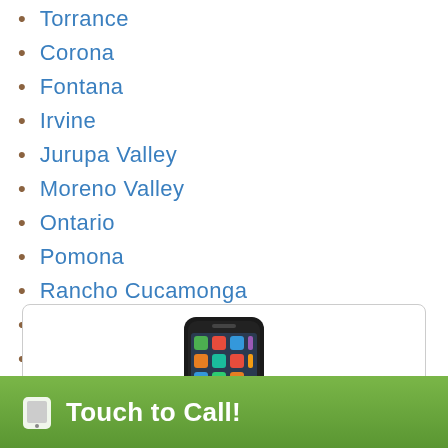Torrance
Corona
Fontana
Irvine
Jurupa Valley
Moreno Valley
Ontario
Pomona
Rancho Cucamonga
Riverside
San Bernardino
Chula Vista
San Diego
[Figure (photo): Smartphone (iPhone) displayed inside a rounded-corner box]
Touch to Call!